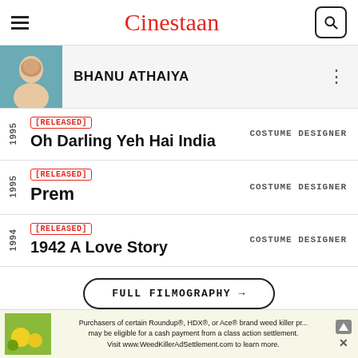Cinestaan
BHANU ATHAIYA
1995 [RELEASED] Oh Darling Yeh Hai India COSTUME DESIGNER
1995 [RELEASED] Prem COSTUME DESIGNER
1994 [RELEASED] 1942 A Love Story COSTUME DESIGNER
FULL FILMOGRAPHY →
Purchasers of certain Roundup®, HDX®, or Ace® brand weed killer pr... may be eligible for a cash payment from a class action settlement. Visit www.WeedKillerAdSettlement.com to learn more.